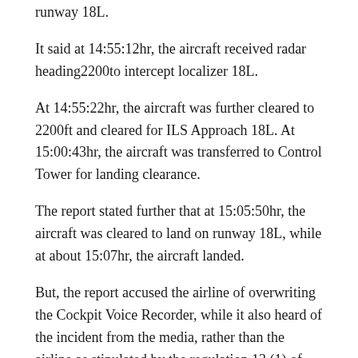runway 18L.
It said at 14:55:12hr, the aircraft received radar heading2200to intercept localizer 18L.
At 14:55:22hr, the aircraft was further cleared to 2200ft and cleared for ILS Approach 18L. At 15:00:43hr, the aircraft was transferred to Control Tower for landing clearance.
The report stated further that at 15:05:50hr, the aircraft was cleared to land on runway 18L, while at about 15:07hr, the aircraft landed.
But, the report accused the airline of overwriting the Cockpit Voice Recorder, while it also heard of the incident from the media, rather than the airline as stipulated by the regulation 13 (1) of the Civil Aviation (Investigation of Accidents and Incidents) Regulations 2019.